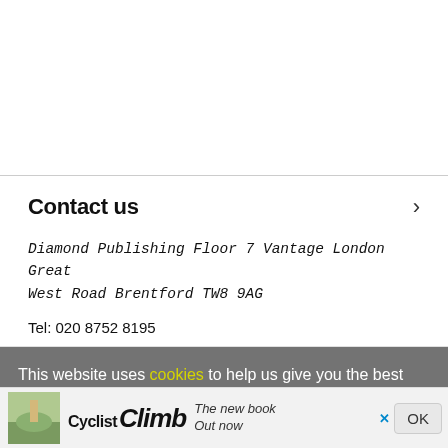Contact us
Diamond Publishing Floor 7 Vantage London Great West Road Brentford TW8 9AG
Tel: 020 8752 8195
This website uses cookies to help us give you the best experience when you visit our website. By continuing to use this website, you consent to our use of these cookies.
[Figure (other): Advertisement banner for 'Cyclist Climb – The new book Out now']